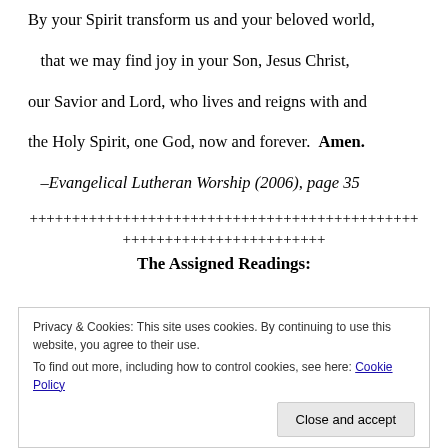By your Spirit transform us and your beloved world,

that we may find joy in your Son, Jesus Christ,

our Savior and Lord, who lives and reigns with and

the Holy Spirit, one God, now and forever.  Amen.
–Evangelical Lutheran Worship (2006), page 35
++++++++++++++++++++++++++++++++++++++++++++++
++++++++++++++++++++++++
The Assigned Readings:
Privacy & Cookies: This site uses cookies. By continuing to use this website, you agree to their use.
To find out more, including how to control cookies, see here: Cookie Policy
Close and accept